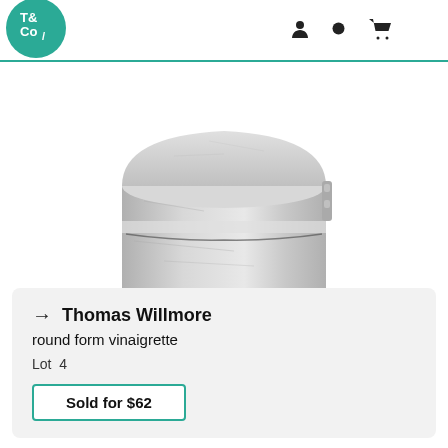[Figure (logo): T&Co. logo — teal circle with white text T& Co/]
[Figure (photo): Photograph of a round silver vinaigrette box with hinged lid, viewed from above at slight angle, plain cylindrical form with dome top]
→  Thomas Willmore
round form vinaigrette
Lot  4
Sold for $62